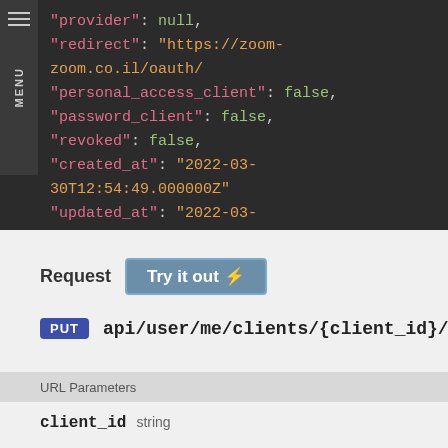[Figure (screenshot): Code block showing JSON response with fields: provider (null), redirect (URL string), personal_access_client (false), password_client (false), revoked (false), created_at (datetime string), updated_at (datetime string), closing brace]
Request   Try it out ⚡
PUT   api/user/me/clients/{client_id}/secret
URL Parameters
client_id   string